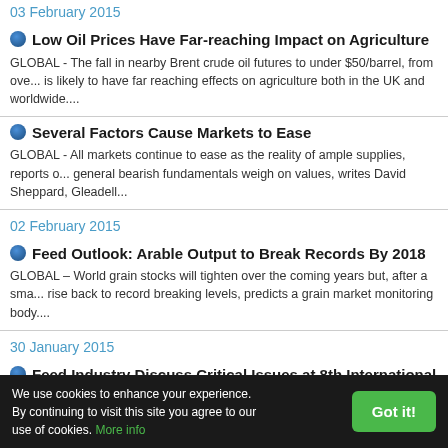03 February 2015
Low Oil Prices Have Far-reaching Impact on Agriculture
GLOBAL - The fall in nearby Brent crude oil futures to under $50/barrel, from ove... is likely to have far reaching effects on agriculture both in the UK and worldwide....
Several Factors Cause Markets to Ease
GLOBAL - All markets continue to ease as the reality of ample supplies, reports o... general bearish fundamentals weigh on values, writes David Sheppard, Gleadell...
02 February 2015
Feed Outlook: Arable Output to Break Records By 2018
GLOBAL – World grain stocks will tighten over the coming years but, after a sma... rise back to record breaking levels, predicts a grain market monitoring body....
30 January 2015
Feed Industry Discuss Critical Issues at 8th International Feed...
GLOBAL - The 8th International Feed Regulators Meeting (IFRM) organized by IF... FAO brought together a record number of feed industry representatives and gove...
We use cookies to enhance your experience. By continuing to visit this site you agree to our use of cookies. More info